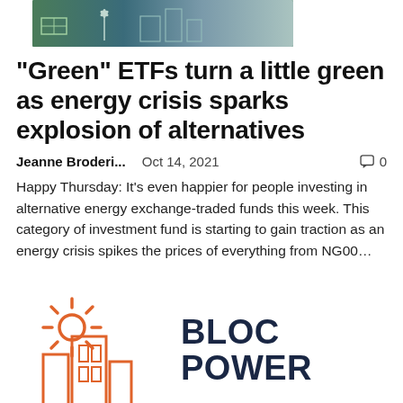[Figure (photo): Article header image showing solar panels and wind turbines, green and blue tones]
“Green” ETFs turn a little green as energy crisis sparks explosion of alternatives
Jeanne Broderi...   Oct 14, 2021   💬 0
Happy Thursday: It’s even happier for people investing in alternative energy exchange-traded funds this week. This category of investment fund is starting to gain traction as an energy crisis spikes the prices of everything from NG00…
[Figure (logo): BlocPower logo: orange geometric building/power icon with text BLOC POWER in dark navy bold font]